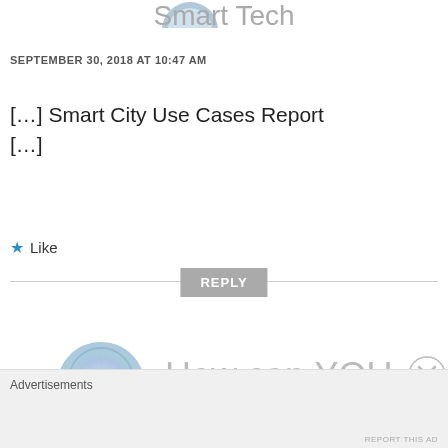Smart Tech
SEPTEMBER 30, 2018 AT 10:47 AM
[…] Smart City Use Cases Report […]
★ Like
REPLY
How can YOU
Advertisements
REPORT THIS AD